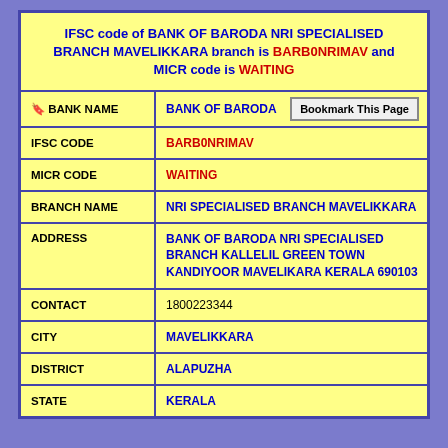IFSC code of BANK OF BARODA NRI SPECIALISED BRANCH MAVELIKKARA branch is BARB0NRIMAV and MICR code is WAITING
| Field | Value |
| --- | --- |
| BANK NAME | BANK OF BARODA |
| IFSC CODE | BARB0NRIMAV |
| MICR CODE | WAITING |
| BRANCH NAME | NRI SPECIALISED BRANCH MAVELIKKARA |
| ADDRESS | BANK OF BARODA NRI SPECIALISED BRANCH KALLELIL GREEN TOWN KANDIYOOR MAVELIKARA KERALA 690103 |
| CONTACT | 1800223344 |
| CITY | MAVELIKKARA |
| DISTRICT | ALAPUZHA |
| STATE | KERALA |